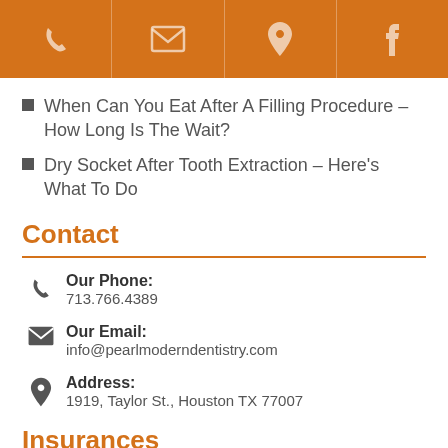[Figure (other): Orange top navigation bar with phone, email, location, and Facebook icons]
When Can You Eat After A Filling Procedure – How Long Is The Wait?
Dry Socket After Tooth Extraction – Here's What To Do
Contact
Our Phone: 713.766.4389
Our Email: info@pearlmoderndentistry.com
Address: 1919, Taylor St., Houston TX 77007
Insurances